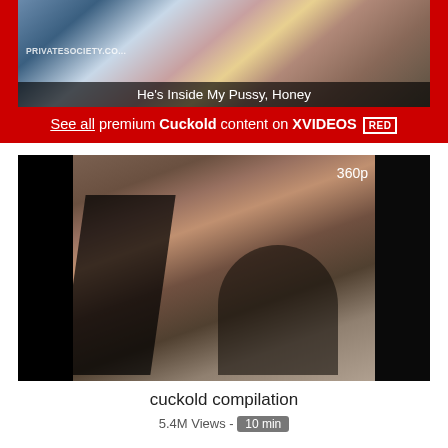[Figure (screenshot): Advertisement banner for XVIDEOS RED showing a video thumbnail at top with text overlay 'He's Inside My Pussy, Honey' and a red bar below reading 'See all premium Cuckold content on XVIDEOS RED']
[Figure (screenshot): Video thumbnail showing a dark scene, labeled 360p in top right corner]
cuckold compilation
5.4M Views - 10 min